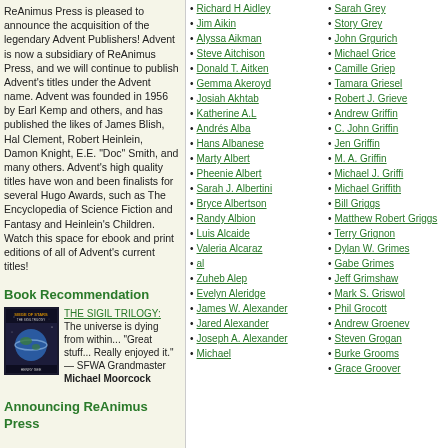ReAnimus Press is pleased to announce the acquisition of the legendary Advent Publishers! Advent is now a subsidiary of ReAnimus Press, and we will continue to publish Advent's titles under the Advent name. Advent was founded in 1956 by Earl Kemp and others, and has published the likes of James Blish, Hal Clement, Robert Heinlein, Damon Knight, E.E. "Doc" Smith, and many others. Advent's high quality titles have won and been finalists for several Hugo Awards, such as The Encyclopedia of Science Fiction and Fantasy and Heinlein's Children. Watch this space for ebook and print editions of all of Advent's current titles!
Book Recommendation
[Figure (photo): Book cover for The Sigil Trilogy: Siege of Stars]
THE SIGIL TRILOGY: The universe is dying from within... "Great stuff... Really enjoyed it." — SFWA Grandmaster Michael Moorcock
Announcing ReAnimus Press
Richard H Aidley
Jim Aikin
Alyssa Aikman
Steve Aitchison
Donald T. Aitken
Gemma Akeroyd
Josiah Akhtab
Katherine A.L
Andrés Alba
Hans Albanese
Marty Albert
Pheenie Albert
Sarah J. Albertini
Bryce Albertson
Randy Albion
Luis Alcaide
Valeria Alcaraz
al
Zuheb Alep
Evelyn Aleridge
James W. Alexander
Jared Alexander
Joseph A. Alexander
Michael
Sarah Grey
Story Grey
John Grgurich
Michael Grice
Camille Griep
Tamara Griesel
Robert J. Grieve
Andrew Griffin
C. John Griffin
Jen Griffin
M. A. Griffin
Michael J. Griffi
Michael Griffith
Bill Griggs
Matthew Robert Griggs
Terry Grignon
Dylan W. Grimes
Gabe Grimes
Jeff Grimshaw
Mark S. Griswol
Phil Grocott
Andrew Groenev
Steven Grogan
Burke Grooms
Grace Groover